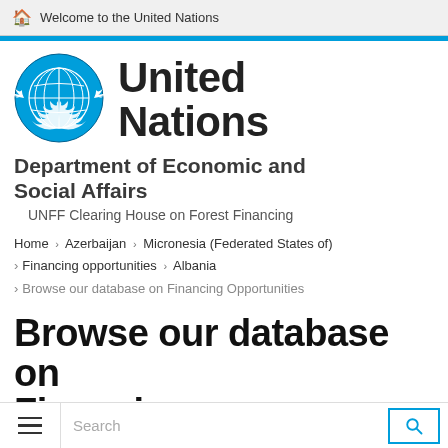Welcome to the United Nations
[Figure (logo): United Nations emblem - blue globe with olive branches]
United Nations
Department of Economic and Social Affairs
UNFF Clearing House on Forest Financing
Home › Azerbaijan › Micronesia (Federated States of) › Financing opportunities › Albania › Browse our database on Financing Opportunities
Browse our database on Financing Opportunities